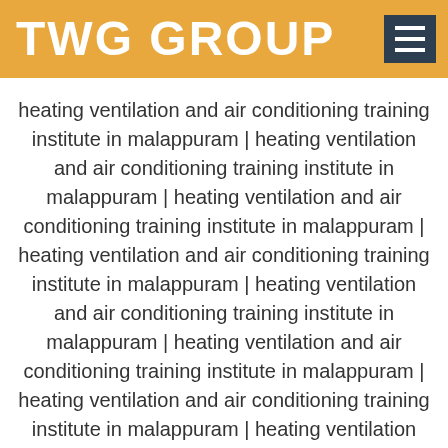TWG GROUP
heating ventilation and air conditioning training institute in malappuram | heating ventilation and air conditioning training institute in malappuram | heating ventilation and air conditioning training institute in malappuram | heating ventilation and air conditioning training institute in malappuram | heating ventilation and air conditioning training institute in malappuram | heating ventilation and air conditioning training institute in malappuram | heating ventilation and air conditioning training institute in malappuram | heating ventilation and air conditioning training institute in malappuram | heating ventilation and air conditioning training institute in malappuram | heating ventilation and air conditioning training institute in malappuram |